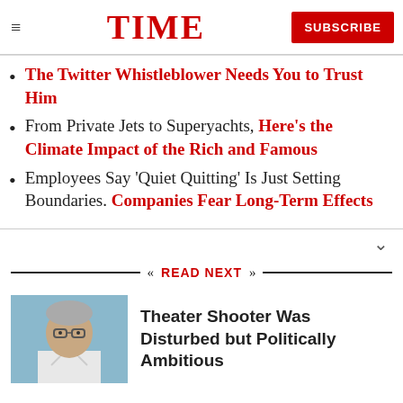TIME — SUBSCRIBE
The Twitter Whistleblower Needs You to Trust Him
From Private Jets to Superyachts, Here's the Climate Impact of the Rich and Famous
Employees Say 'Quiet Quitting' Is Just Setting Boundaries. Companies Fear Long-Term Effects
READ NEXT
Theater Shooter Was Disturbed but Politically Ambitious